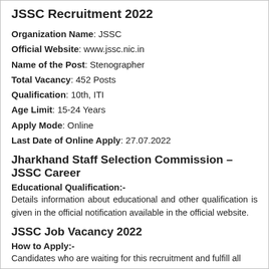JSSC Recruitment 2022
Organization Name: JSSC
Official Website: www.jssc.nic.in
Name of the Post: Stenographer
Total Vacancy: 452 Posts
Qualification: 10th, ITI
Age Limit: 15-24 Years
Apply Mode: Online
Last Date of Online Apply: 27.07.2022
Jharkhand Staff Selection Commission – JSSC Career
Educational Qualification:-
Details information about educational and other qualification is given in the official notification available in the official website.
JSSC Job Vacancy 2022
How to Apply:-
Candidates who are waiting for this recruitment and fulfill all